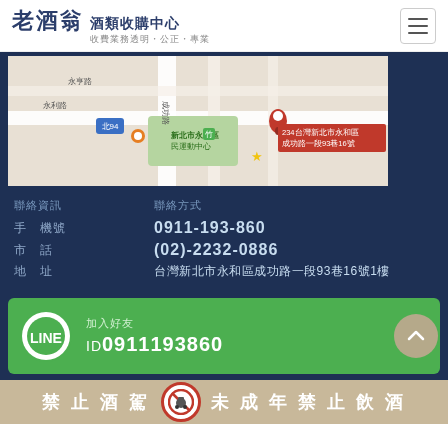[Figure (logo): 老酒翁 酒類收購中心 logo with tagline 收費業務透明·公正·專業]
[Figure (map): Google map showing location at 234台灣新北市永和區成功路一段93巷16號, near 新北市永和區民運動中心]
聯絡資訊	聯絡方式
手　機號　0911-193-860
市　話　(02)-2232-0886
地　址　台灣新北市永和區成功路一段93巷16號1樓
[Figure (infographic): LINE banner with ID 0911193860]
禁止酒駕 🚫 未成年禁止飲酒